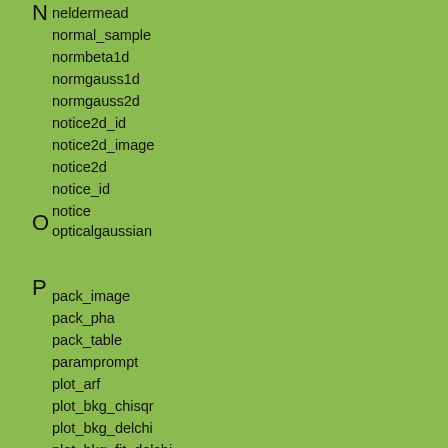N
neldermead
normal_sample
normbeta1d
normgauss1d
normgauss2d
notice2d_id
notice2d_image
notice2d
notice_id
notice
O
opticalgaussian
P
pack_image
pack_pha
pack_table
paramprompt
plot_arf
plot_bkg_chisqr
plot_bkg_delchi
plot_bkg_fit_delchi
plot_bkg_fit_ratio
plot_bkg_fit_resid
plot_bkg_fit
plot_bkg_model
plot_bkg_ratio
plot_bkg_resid
plot_bkg_source